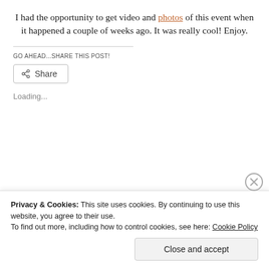I had the opportunity to get video and photos of this event when it happened a couple of weeks ago. It was really cool! Enjoy.
GO AHEAD...SHARE THIS POST!
[Figure (other): Share button with share icon]
Loading...
Privacy & Cookies: This site uses cookies. By continuing to use this website, you agree to their use. To find out more, including how to control cookies, see here: Cookie Policy
Close and accept